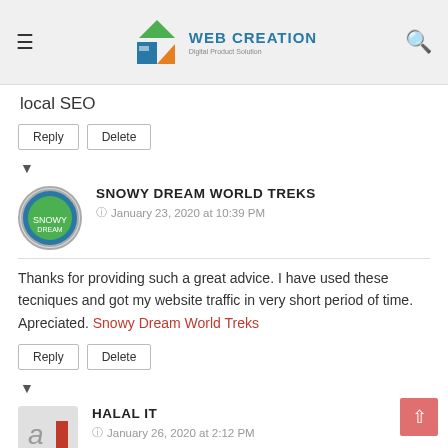Web Creation
local SEO
Reply | Delete
▼
SNOWY DREAM WORLD TREKS
January 23, 2020 at 10:39 PM
Thanks for providing such a great advice. I have used these tecniques and got my website traffic in very short period of time. Apreciated. Snowy Dream World Treks
Reply | Delete
▼
HALAL IT
January 26, 2020 at 2:12 PM